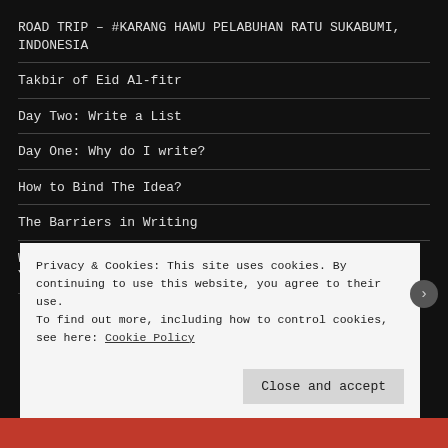ROAD TRIP – #KARANG HAWU PELABUHAN RATU SUKABUMI, INDONESIA
Takbir of Eid Al-fitr
Day Two: Write a List
Day One: Why do I write?
How to Bind The Idea?
The Barriers in Writing
Watch “20 Most Beautiful Place In Indonesia” di YouTube
Privacy & Cookies: This site uses cookies. By continuing to use this website, you agree to their use.
To find out more, including how to control cookies, see here: Cookie Policy
Close and accept